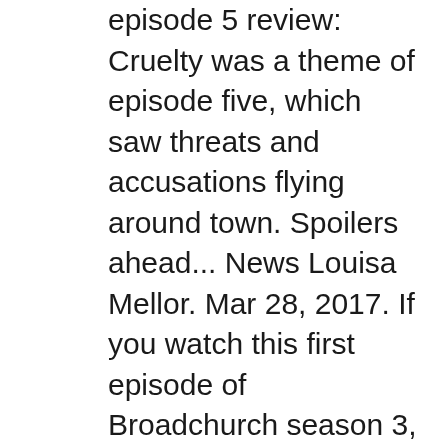episode 5 review: Cruelty was a theme of episode five, which saw threats and accusations flying around town. Spoilers ahead... News Louisa Mellor. Mar 28, 2017. If you watch this first episode of Broadchurch season 3, good luck avoiding the next 7. Gwen Ihnat. 94. Save. 6/28/17. 1:00 AM. Save. TV Reviews Broadchurch 6/28/17. A. TV Reviews Broadchurch 6/28/17.
Broadchurch season 3, episode 5 review: Terrific drama, middling whodunnit. The net is widening, not closing in - but does it matter? Broadchurch episode 7 review: Going round in circles; Aug 15, 2017 · 'Broadchurch' finale offers a